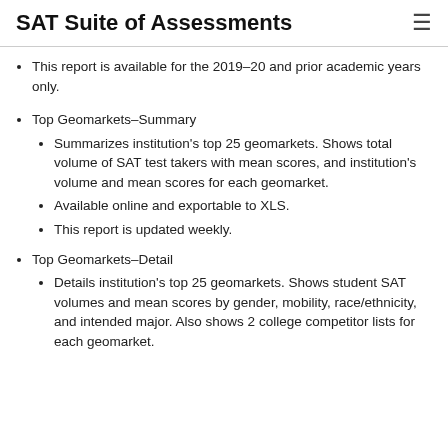SAT Suite of Assessments
This report is available for the 2019–20 and prior academic years only.
Top Geomarkets–Summary
Summarizes institution's top 25 geomarkets. Shows total volume of SAT test takers with mean scores, and institution's volume and mean scores for each geomarket.
Available online and exportable to XLS.
This report is updated weekly.
Top Geomarkets–Detail
Details institution's top 25 geomarkets. Shows student SAT volumes and mean scores by gender, mobility, race/ethnicity, and intended major. Also shows 2 college competitor lists for each geomarket.